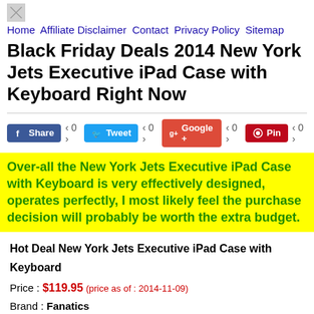Home  Affiliate Disclaimer  Contact  Privacy Policy  Sitemap
Black Friday Deals 2014 New York Jets Executive iPad Case with Keyboard Right Now
Over-all the New York Jets Executive iPad Case with Keyboard is very effectively designed, operates perfectly, I most likely feel the purchase decision will probably be worth the extra budget.
Hot Deal New York Jets Executive iPad Case with Keyboard
Price : $119.95 (price as of : 2014-11-09)
Brand : Fanatics
Merchant : Fanatics
Product ID : 76648b864ec54ed1bca3b0ca4ad0cf08
[Figure (illustration): Bottom portion of a yellow smiley face circle]